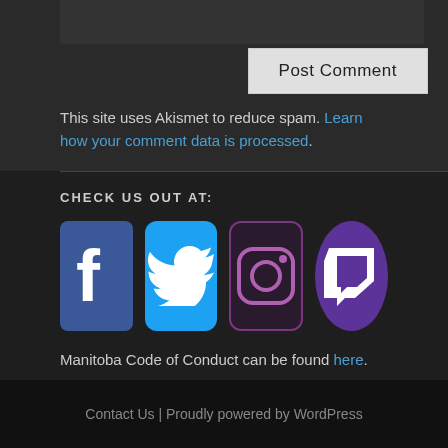[Figure (screenshot): Top section with dark textarea and Post Comment button]
This site uses Akismet to reduce spam. Learn how your comment data is processed.
CHECK US OUT AT:
[Figure (illustration): Social media icons: Facebook, Twitter, Instagram, Twitch]
Manitoba Code of Conduct can be found here.
Contact Us | Proudly powered by WordPress